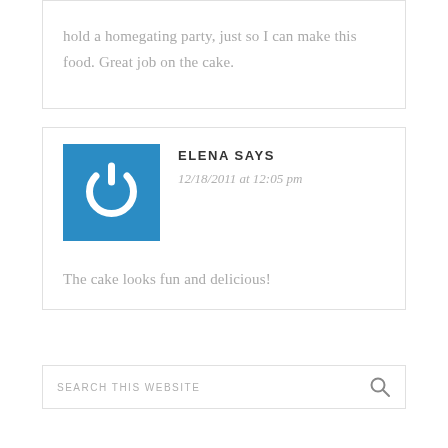hold a homegating party, just so I can make this food. Great job on the cake.
[Figure (logo): Blue square icon with white power button symbol]
ELENA SAYS
12/18/2011 at 12:05 pm
The cake looks fun and delicious!
SEARCH THIS WEBSITE